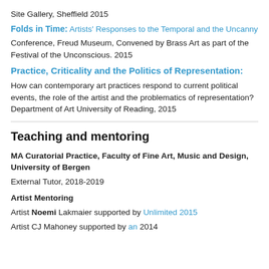Site Gallery, Sheffield 2015
Folds in Time: Artists' Responses to the Temporal and the Uncanny
Conference, Freud Museum, Convened by Brass Art as part of the Festival of the Unconscious. 2015
Practice, Criticality and the Politics of Representation:
How can contemporary art practices respond to current political events, the role of the artist and the problematics of representation? Department of Art University of Reading, 2015
Teaching and mentoring
MA Curatorial Practice, Faculty of Fine Art, Music and Design, University of Bergen
External Tutor, 2018-2019
Artist Mentoring
Artist Noemi Lakmaier supported by Unlimited 2015
Artist CJ Mahoney supported by an 2014